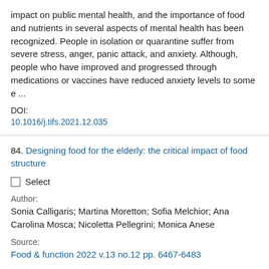impact on public mental health, and the importance of food and nutrients in several aspects of mental health has been recognized. People in isolation or quarantine suffer from severe stress, anger, panic attack, and anxiety. Although, people who have improved and progressed through medications or vaccines have reduced anxiety levels to some e ...
DOI:
10.1016/j.tifs.2021.12.035
84. Designing food for the elderly: the critical impact of food structure
Select
Author:
Sonia Calligaris; Martina Moretton; Sofia Melchior; Ana Carolina Mosca; Nicoletta Pellegrini; Monica Anese
Source:
Food & function 2022 v.13 no.12 pp. 6467-6483